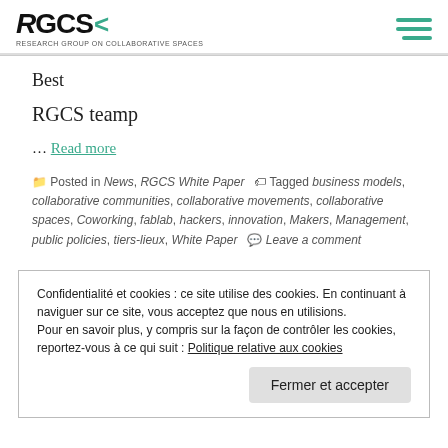RGCS — Research Group on Collaborative Spaces
Best
RGCS teamp
... Read more
Posted in News, RGCS White Paper   Tagged business models, collaborative communities, collaborative movements, collaborative spaces, Coworking, fablab, hackers, innovation, Makers, Management, public policies, tiers-lieux, White Paper   Leave a comment
Confidentialité et cookies : ce site utilise des cookies. En continuant à naviguer sur ce site, vous acceptez que nous en utilisions.
Pour en savoir plus, y compris sur la façon de contrôler les cookies, reportez-vous à ce qui suit : Politique relative aux cookies
Fermer et accepter